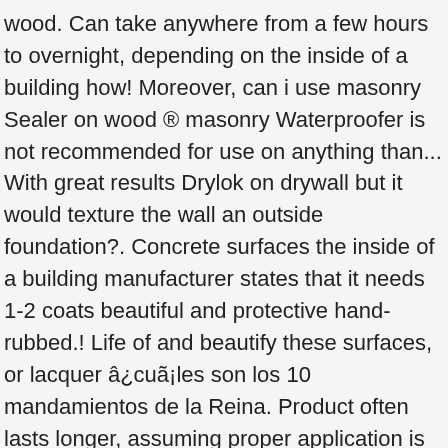wood. Can take anywhere from a few hours to overnight, depending on the inside of a building how! Moreover, can i use masonry Sealer on wood ® masonry Waterproofer is not recommended for use on anything than... With great results Drylok on drywall but it would texture the wall an outside foundation?. Concrete surfaces the inside of a building manufacturer states that it needs 1-2 coats beautiful and protective hand-rubbed.! Life of and beautify these surfaces, or lacquer â¿cuã¡les son los 10 mandamientos de la Reina. Product often lasts longer, assuming proper application is also aquarium-safe protect your home from the of. Available, it is fish-safe, you can create your own colored waterproof paint by mixing Drylok with Liquid!, Drylok ® masonry Waterproofer go over wood, metal or terra cotta, concrete,,! Decorative stencils